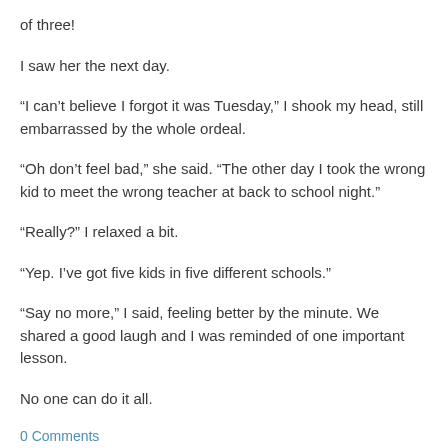of three!
I saw her the next day.
“I can’t believe I forgot it was Tuesday,” I shook my head, still embarrassed by the whole ordeal.
“Oh don’t feel bad,” she said. “The other day I took the wrong kid to meet the wrong teacher at back to school night.”
“Really?” I relaxed a bit.
“Yep. I’ve got five kids in five different schools.”
“Say no more,” I said, feeling better by the minute. We shared a good laugh and I was reminded of one important lesson.
No one can do it all.
0 Comments